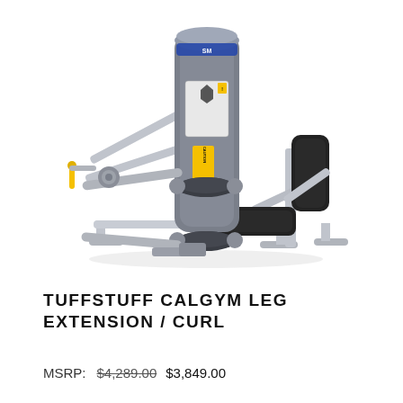[Figure (photo): A TuffStuff CalGym leg extension/curl machine shown from a side angle. The machine has a silver/chrome frame with dark grey padded rollers, a padded black seat and backrest, and yellow safety warning stickers. It is a combination leg extension and leg curl exercise machine.]
TUFFSTUFF CALGYM LEG EXTENSION / CURL
MSRP: $4,289.00  $3,849.00